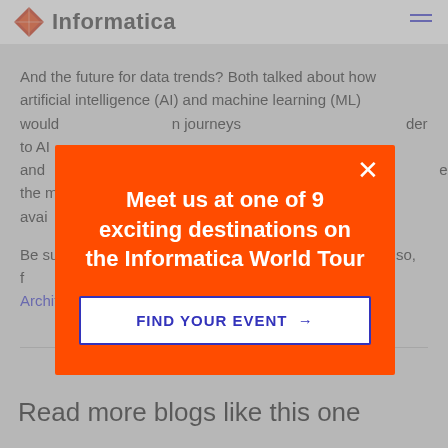Informatica
And the future for data trends? Both talked about how artificial intelligence (AI) and machine learning (ML) would ... n journeys ... der to AI and ... starting ... ects the me... makes it avai... a.
Be sur... tail. Also, f... custom... Enterprise Architecture Summit
[Figure (infographic): Orange modal popup on dimmed background. Contains white text: 'Meet us at one of 9 exciting destinations on the Informatica World Tour' and a white button with blue text 'FIND YOUR EVENT →'. Close (×) button in top right.]
Read more blogs like this one